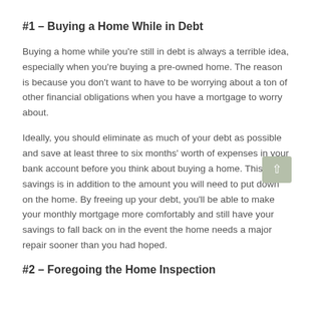#1 – Buying a Home While in Debt
Buying a home while you're still in debt is always a terrible idea, especially when you're buying a pre-owned home. The reason is because you don't want to have to be worrying about a ton of other financial obligations when you have a mortgage to worry about.
Ideally, you should eliminate as much of your debt as possible and save at least three to six months' worth of expenses in your bank account before you think about buying a home. This savings is in addition to the amount you will need to put down on the home. By freeing up your debt, you'll be able to make your monthly mortgage more comfortably and still have your savings to fall back on in the event the home needs a major repair sooner than you had hoped.
#2 – Foregoing the Home Inspection